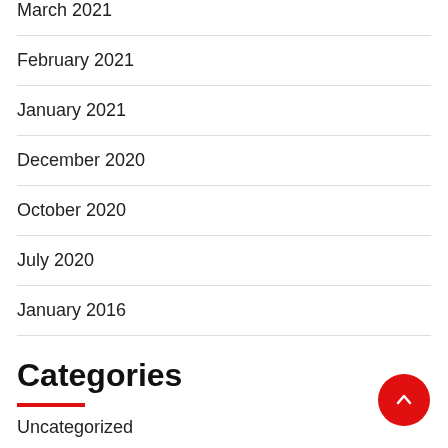March 2021
February 2021
January 2021
December 2020
October 2020
July 2020
January 2016
Categories
Uncategorized